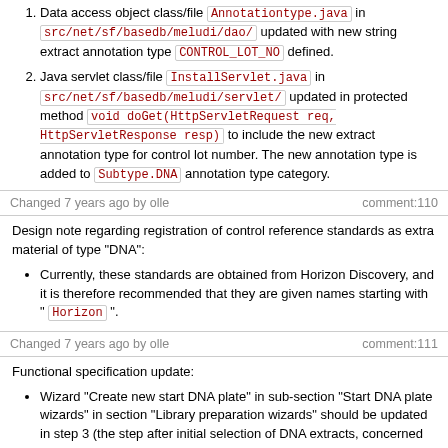Data access object class/file Annotationtype.java in src/net/sf/basedb/meludi/dao/ updated with new string extract annotation type CONTROL_LOT_NO defined.
Java servlet class/file InstallServlet.java in src/net/sf/basedb/meludi/servlet/ updated in protected method void doGet(HttpServletRequest req, HttpServletResponse resp) to include the new extract annotation type for control lot number. The new annotation type is added to Subtype.DNA annotation type category.
Changed 7 years ago by olle    comment:110
Design note regarding registration of control reference standards as extra material of type "DNA":
Currently, these standards are obtained from Horizon Discovery, and it is therefore recommended that they are given names starting with " Horizon ".
Changed 7 years ago by olle    comment:111
Functional specification update:
Wizard "Create new start DNA plate" in sub-section "Start DNA plate wizards" in section "Library preparation wizards" should be updated in step 3 (the step after initial selection of DNA extracts, concerned with selecting a library preparation kit to use) by allowing manual selection of extra DNA extracts and/or control items: